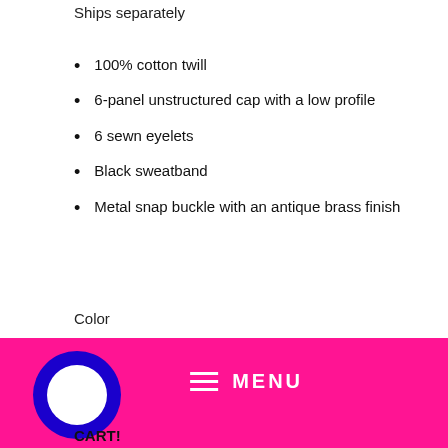Ships separately
100% cotton twill
6-panel unstructured cap with a low profile
6 sewn eyelets
Black sweatband
Metal snap buckle with an antique brass finish
Color
Black ∨
Quantity
1
[Figure (other): Hot pink bottom navigation bar with a circular chat icon on the left (blue ring with white circle) and hamburger menu icon with MENU text in white on the right]
CART!